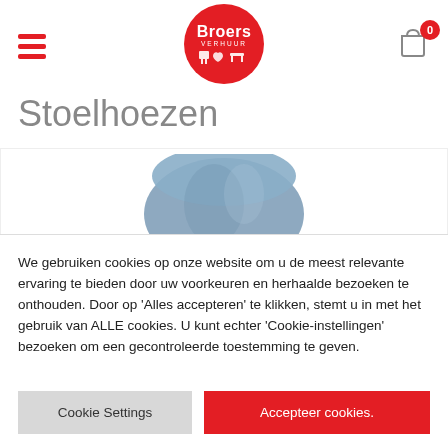[Figure (logo): Broers Verhuur logo — red circle with white text 'Broers' and subtitle 'VERHUUR' with furniture icons]
Stoelhoezen
[Figure (photo): A blue fabric chair cover/slip over a chair back, shown on white background]
We gebruiken cookies op onze website om u de meest relevante ervaring te bieden door uw voorkeuren en herhaalde bezoeken te onthouden. Door op 'Alles accepteren' te klikken, stemt u in met het gebruik van ALLE cookies. U kunt echter 'Cookie-instellingen' bezoeken om een gecontroleerde toestemming te geven.
Cookie Settings
Accepteer cookies.